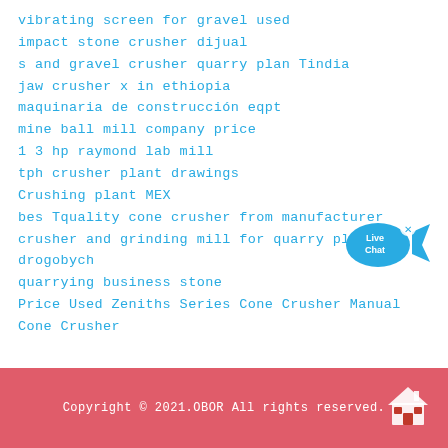vibrating screen for gravel used
impact stone crusher dijual
s and gravel crusher quarry plan Tindia
jaw crusher x in ethiopia
maquinaria de construcción eqpt
mine ball mill company price
1 3 hp raymond lab mill
tph crusher plant drawings
Crushing plant MEX
bes Tquality cone crusher from manufacturer
crusher and grinding mill for quarry plant in drogobych
quarrying business stone
Price Used Zeniths Series Cone Crusher Manual Cone Crusher
[Figure (illustration): Live Chat bubble icon in blue with 'Live Chat' text and a small x close button]
Copyright © 2021.OBOR All rights reserved.